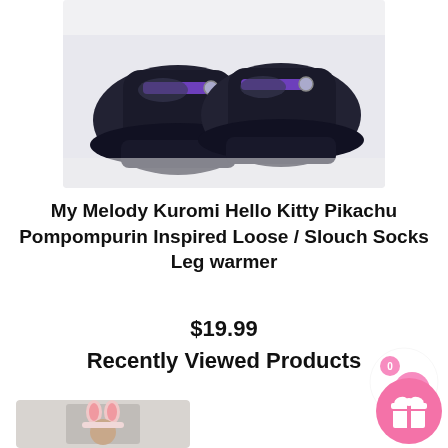[Figure (photo): Black platform shoes with purple buckle straps photographed on white fabric background, top-down view]
My Melody Kuromi Hello Kitty Pikachu Pompompurin Inspired Loose / Slouch Socks Leg warmer
$19.99
[Figure (other): Cart icon with pink background circle and badge showing 0]
Recently Viewed Products
[Figure (photo): Person wearing pink bunny ear hat, partially visible product thumbnail]
[Figure (other): Pink gift/reward button icon in bottom right corner]